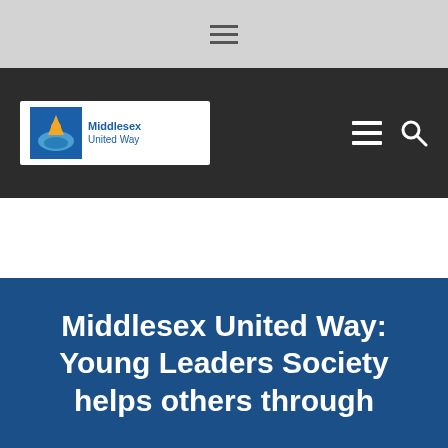[Figure (logo): Middlesex United Way logo with United Way icon and text]
Middlesex United Way: Young Leaders Society helps others through